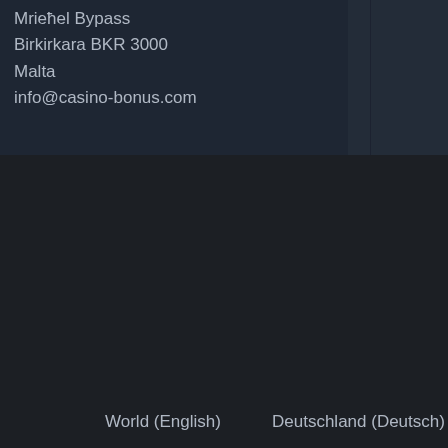Mrieħel Bypass
Birkirkara BKR 3000
Malta
info@casino-bonus.com
World (English)    Deutschland (Deutsch)